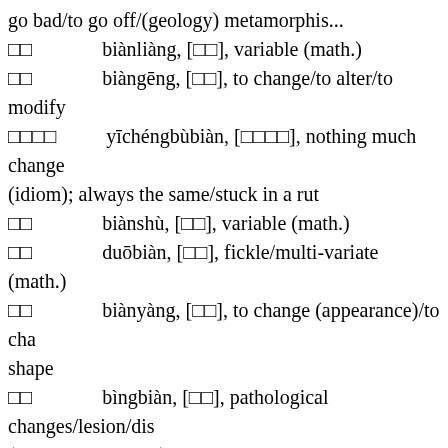go bad/to go off/(geology) metamorphis...
□□  biànliàng, [□□], variable (math.)
□□  biàngēng, [□□], to change/to alter/to modify
□□□□  yīchéngbùbiàn, [□□□□], nothing much change (idiom); always the same/stuck in a rut
□□  biànshù, [□□], variable (math.)
□□  duōbiàn, [□□], fickle/multi-variate (math.)
□□  biànyàng, [□□], to change (appearance)/to change shape
□□  bìngbiàn, [□□], pathological changes/lesion/dis... (kidney, cornea etc)
□□  biànsè, [□□], to change color/to discolor/to change countenance/to become angry
□□□□  suíjīyìngbiàn, [□□□□], to change according to situation (idiom); pragmatic
□□  biàntōng, [□□], pragmatic/flexible/to act differently in different situations/to accommodate to ...